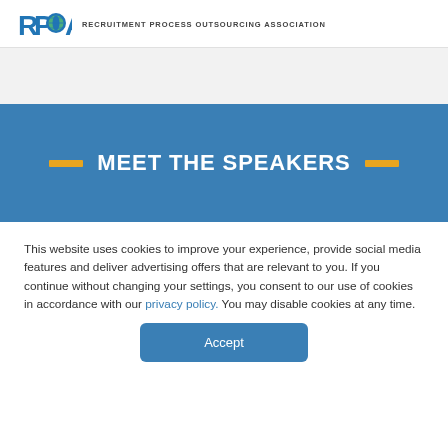[Figure (logo): RPOA logo — stylized letters 'RP' in blue followed by a globe icon and 'A' in blue, with text 'RECRUITMENT PROCESS OUTSOURCING ASSOCIATION' to the right]
MEET THE SPEAKERS
This website uses cookies to improve your experience, provide social media features and deliver advertising offers that are relevant to you. If you continue without changing your settings, you consent to our use of cookies in accordance with our privacy policy. You may disable cookies at any time.